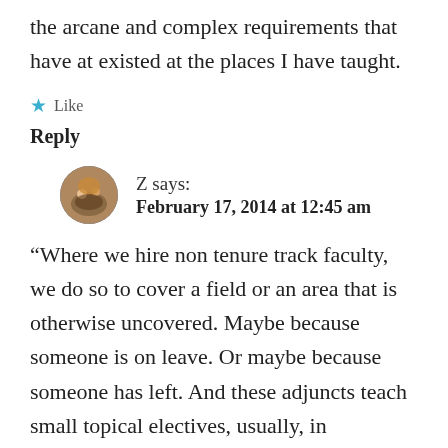the arcane and complex requirements that have at existed at the places I have taught.
★ Like
Reply
Z says:
February 17, 2014 at 12:45 am
“Where we hire non tenure track faculty, we do so to cover a field or an area that is otherwise uncovered. Maybe because someone is on leave. Or maybe because someone has left. And these adjuncts teach small topical electives, usually, in